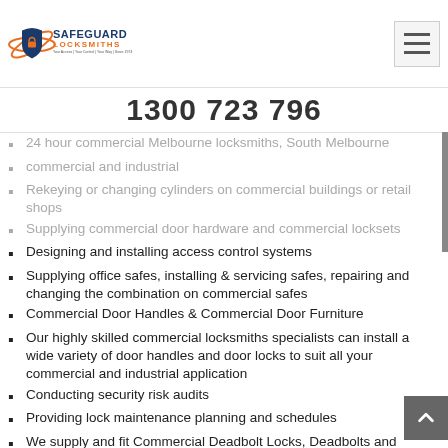[Figure (logo): Safeguard Locksmiths logo with shield/lock icon and tagline 'Your Access | Your Control | Your Way | Since 1974']
1300 723 796
24 hour commercial Melbourne locksmiths, South Melbourne
commercial and industrial
Rekeying or changing cylinders on commercial buildings or retail shops
Supplying commercial door hardware and commercial locksets
Designing and installing access control systems
Supplying office safes, installing & servicing safes, repairing and changing the combination on commercial safes
Commercial Door Handles & Commercial Door Furniture
Our highly skilled commercial locksmiths specialists can install a wide variety of door handles and door locks to suit all your commercial and industrial application
Conducting security risk audits
Providing lock maintenance planning and schedules
We supply and fit Commercial Deadbolt Locks, Deadbolts and Deadlatches
Restricted Master Key Systems custom designed and Installed